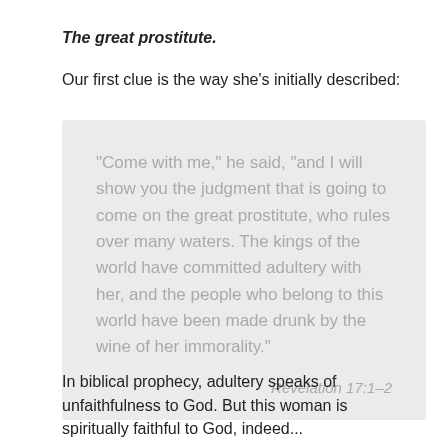The great prostitute.
Our first clue is the way she's initially described:
"Come with me," he said, "and I will show you the judgment that is going to come on the great prostitute, who rules over many waters. The kings of the world have committed adultery with her, and the people who belong to this world have been made drunk by the wine of her immorality." Revelation 17:1-2
In biblical prophecy, adultery speaks of unfaithfulness to God. But this woman is spiritually faithful to God, indeed...